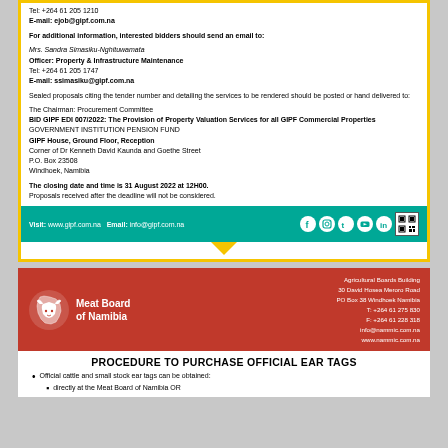Tel: +264 61 205 1210
E-mail: ejob@gipf.com.na
For additional information, interested bidders should send an email to:
Mrs. Sandra Simasiku-Nghituwamata
Officer: Property & Infrastructure Maintenance
Tel: +264 61 205 1747
E-mail: ssimasiku@gipf.com.na
Sealed proposals citing the tender number and detailing the services to be rendered should be posted or hand delivered to:
The Chairman: Procurement Committee
BID GIPF EDI 007/2022: The Provision of Property Valuation Services for all GIPF Commercial Properties
GOVERNMENT INSTITUTION PENSION FUND
GIPF House, Ground Floor, Reception
Corner of Dr Kenneth David Kaunda and Goethe Street
P.O. Box 23508
Windhoek, Namibia
The closing date and time is 31 August 2022 at 12H00.
Proposals received after the deadline will not be considered.
Visit: www.gipf.com.na  Email: info@gipf.com.na
[Figure (logo): Meat Board of Namibia logo with red background, white bull silhouette on Namibia map shape]
Agricultural Boards Building
30 David Hosea Meroro Road
PO Box 38 Windhoek Namibia
T: +264 61 275 830
F: +264 61 228 318
info@nammic.com.na
www.nammic.com.na
PROCEDURE TO PURCHASE OFFICIAL EAR TAGS
Official cattle and small stock ear tags can be obtained:
directly at the Meat Board of Namibia OR